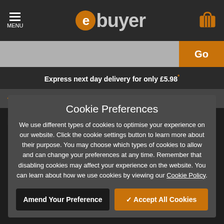ebuyer MENU
Go
Express next day delivery for only £5.98*
< Alarm Systems and Accessories
Cookie Preferences
We use different types of cookies to optimise your experience on our website. Click the cookie settings button to learn more about their purpose. You may choose which types of cookies to allow and can change your preferences at any time. Remember that disabling cookies may affect your experience on the website. You can learn about how we use cookies by viewing our Cookie Policy.
Amend Your Preference
Accept All Cookies